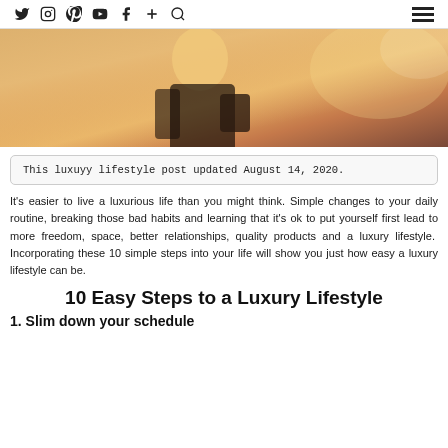Social icons: Twitter, Instagram, Pinterest, YouTube, Facebook, Plus, Search | Hamburger menu
[Figure (photo): A blond woman in a white top and dark outfit photographed from behind in warm golden light, carrying a bag, on stairs or a street.]
This luxuyy lifestyle post updated August 14, 2020.
It's easier to live a luxurious life than you might think. Simple changes to your daily routine, breaking those bad habits and learning that it's ok to put yourself first lead to more freedom, space, better relationships, quality products and a luxury lifestyle.  Incorporating these 10 simple steps into your life will show you just how easy a luxury lifestyle can be.
10 Easy Steps to a Luxury Lifestyle
1. Slim down your schedule